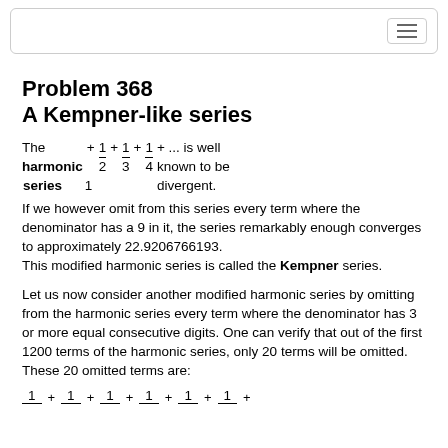Problem 368
A Kempner-like series
The harmonic series 1 + 1/2 + 1/3 + 1/4 + ... is well known to be divergent.
If we however omit from this series every term where the denominator has a 9 in it, the series remarkably enough converges to approximately 22.9206766193.
This modified harmonic series is called the Kempner series.
Let us now consider another modified harmonic series by omitting from the harmonic series every term where the denominator has 3 or more equal consecutive digits. One can verify that out of the first 1200 terms of the harmonic series, only 20 terms will be omitted.
These 20 omitted terms are:
1 + 1 + 1 + 1 + 1 + 1 ...